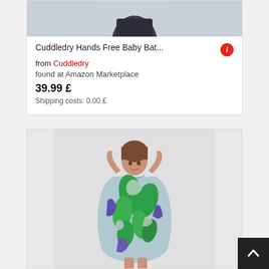[Figure (photo): Partial product image of baby bathrobe at top of first card]
Cuddledry Hands Free Baby Bat...
from Cuddledry
found at Amazon Marketplace
39.99 £
Shipping costs: 0.00 £
[Figure (photo): Woman wearing a tropical leaf print dress, hands behind head, against grey background]